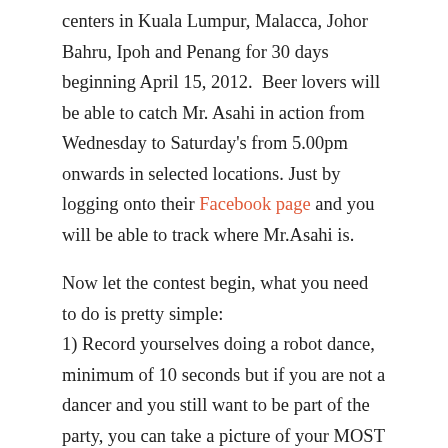centers in Kuala Lumpur, Malacca, Johor Bahru, Ipoh and Penang for 30 days beginning April 15, 2012.  Beer lovers will be able to catch Mr. Asahi in action from Wednesday to Saturday's from 5.00pm onwards in selected locations. Just by logging onto their Facebook page and you will be able to track where Mr.Asahi is.
Now let the contest begin, what you need to do is pretty simple:
1) Record yourselves doing a robot dance, minimum of 10 seconds but if you are not a dancer and you still want to be part of the party, you can take a picture of your MOST robotic pose. You really don't need to be a professional dancer. You can dress in creative/ funny costumes to make it funny and entertaining!